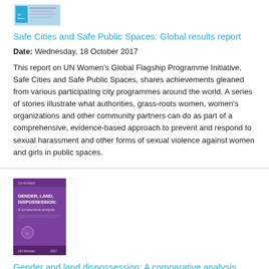[Figure (illustration): Small thumbnail image of the Safe Cities and Safe Public Spaces report cover]
Safe Cities and Safe Public Spaces: Global results report
Date: Wednesday, 18 October 2017
This report on UN Women's Global Flagship Programme Initiative, Safe Cities and Safe Public Spaces, shares achievements gleaned from various participating city programmes around the world. A series of stories illustrate what authorities, grass-roots women, women's organizations and other community partners can do as part of a comprehensive, evidence-based approach to prevent and respond to sexual harassment and other forms of sexual violence against women and girls in public spaces.
[Figure (illustration): Purple book cover for Gender and land dispossession: A comparative analysis]
Gender and land dispossession: A comparative analysis
Date: Monday, 21 August 2017
This paper looks to our understanding of the gendered implications of land dispossession, through a comparative analysis of f…